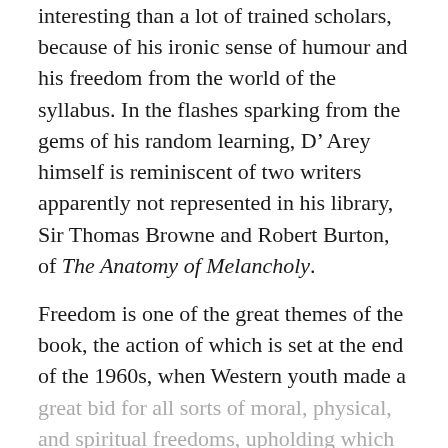interesting than a lot of trained scholars, because of his ironic sense of humour and his freedom from the world of the syllabus. In the flashes sparking from the gems of his random learning, D’ Arey himself is reminiscent of two writers apparently not represented in his library, Sir Thomas Browne and Robert Burton, of The Anatomy of Melancholy.
Freedom is one of the great themes of the book, the action of which is set at the end of the 1960s, when Western youth made a great bid for all sorts of moral, physical, and spiritual freedoms, upholding which brought